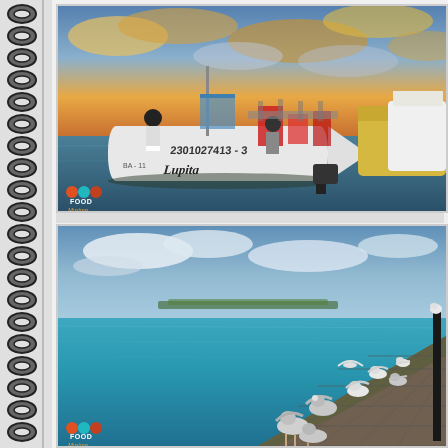[Figure (photo): Fishing boats docked at a marina during sunset. A white boat with '2301027413-3' and 'Lupita' written on the hull is prominent. People are visible on the boat. Dramatic orange and blue cloudy sky in the background. A Food Musings logo is visible in the lower left corner.]
[Figure (photo): Seagulls standing on a wooden dock/pier extending into calm turquoise-blue water. Islands visible in the distance under a partly cloudy sky. A black pole stands at the end of the dock. A Food Musings logo is visible in the lower left corner.]